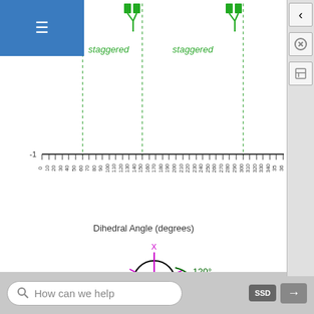[Figure (continuous-plot): Top portion of a dihedral angle plot showing x-axis from 0 to 360 degrees with tick marks and dashed green vertical lines at ~60, ~150, and ~300 degrees, with 'staggered' label annotations in green. A horizontal line at y=-1 is visible. Green molecular conformer icons appear at the top at the staggered angle positions.]
Dihedral Angle (degrees)
[Figure (schematic): Newman projection diagram showing 120° dihedral angle. A circle (black) with a central blue dot and pink/magenta bonds extending outward. A green curved arrow shows 120° rotation labeled in dark text. Pink magenta lines indicate substituents labeled X (top) and Y (bottom right). A dash '-' appears to the left.]
[Figure (schematic): Newman projection diagram showing 100° dihedral angle. A circle (pink/magenta) with a central blue dot and bonds. A green curved arrow shows 100° rotation. Labels X (top) and Y. A dash '-' appears to the left.]
[Figure (schematic): Newman projection diagram showing 80° dihedral angle. A circle (pink/magenta, larger) with a central blue dot and bonds. A green curved arrow shows 80° rotation. Labels X and Y. A dash '-' appears to the left.]
[Figure (schematic): Partial Newman projection diagram showing 60° dihedral angle (partially visible at bottom of page). A green curved arrow and '60°' label visible.]
How can we help         SSD  →